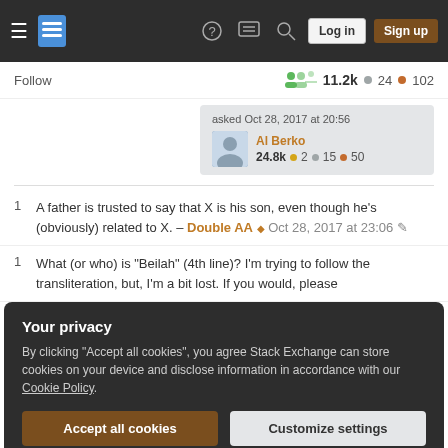Stack Exchange navigation bar with Log in and Sign up buttons
Follow  11.2k  24  102
asked Oct 28, 2017 at 20:56  Al Berko  24.8k  2  15  50
1  A father is trusted to say that X is his son, even though he's (obviously) related to X. — Double AA ♦ Oct 28, 2017 at 23:06
1  What (or who) is "Beilah" (4th line)? I'm trying to follow the transliteration, but, I'm a bit lost. If you would, please
Your privacy
By clicking "Accept all cookies", you agree Stack Exchange can store cookies on your device and disclose information in accordance with our Cookie Policy.
Accept all cookies  Customize settings
even if someone trustworthy tells you your age, it may not